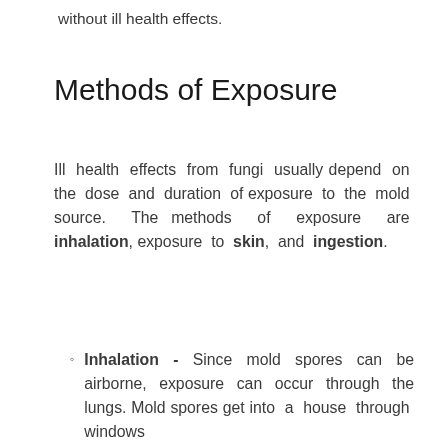without ill health effects.
Methods of Exposure
Ill health effects from fungi usually depend on the dose and duration of exposure to the mold source. The methods of exposure are inhalation, exposure to skin, and ingestion.
Inhalation - Since mold spores can be airborne, exposure can occur through the lungs. Mold spores get into a house through windows…